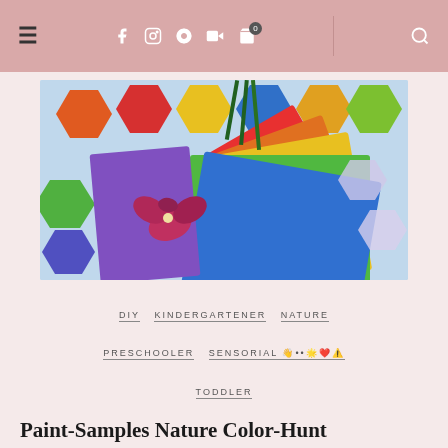Navigation bar with menu, social icons, cart, and search
[Figure (photo): Colorful paint sample chips (hexagonal and rectangular shapes) in red, yellow, green, blue, orange, purple along with a pink orchid flower on a light blue background]
DIY  KINDERGARTENER  NATURE  PRESCHOOLER  SENSORIAL 👋••🌟❤️⚠️  TODDLER
Paint-Samples Nature Color-Hunt
Paint-Samples Nature Color-Hunt is a fun Montessori color tablets DIY to get your little naturalist outdoors while refining the senses!…